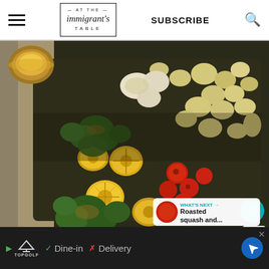At The Immigrant's Table — SUBSCRIBE
[Figure (photo): Overhead view of a roasting pan with roasted vegetables including broccoli, potatoes, halved lemons, cherry tomatoes, and cauliflower. A small bowl of yellow sauce in top-left corner. Linen cloth on left side.]
143
WHAT'S NEXT → Roasted squash and...
▷ TOPGOLF ✓ Dine-in ✗ Delivery